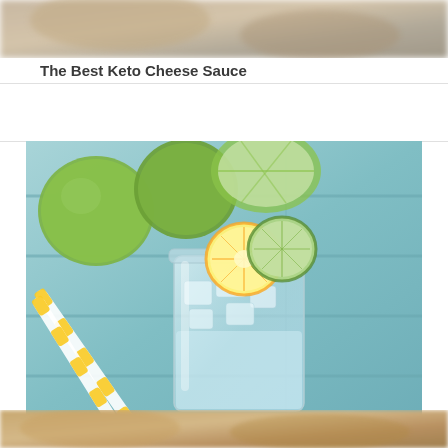[Figure (photo): Partially visible food photo at the top of the page, showing a blurred beige/tan background]
The Best Keto Cheese Sauce
[Figure (photo): A mason jar glass filled with a clear icy drink, garnished with a lemon slice and lime slice on the rim. Two yellow and white striped paper straws lean against the glass. In the background are whole limes and a halved lime on a light blue painted wooden surface.]
Beat Keto-Flu with Homemade Electrolyte Drink
[Figure (photo): Partially visible food photo at the bottom of the page]